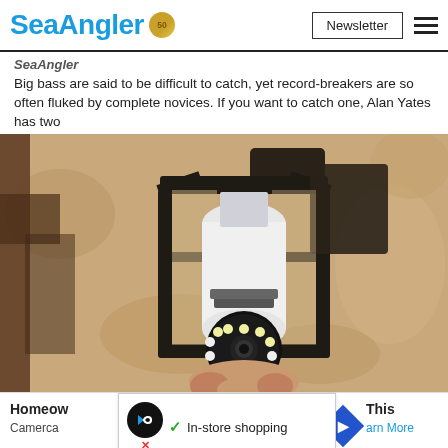SeaAngler | Newsletter
SeaAngler
Big bass are said to be difficult to catch, yet record-breakers are so often fluked by complete novices. If you want to catch one, Alan Yates has two
[Figure (photo): A hand holding a white security camera light bulb being installed into a dark metal outdoor lantern fixture mounted on a rough textured stone wall.]
Homeow
Camerca
In-store shopping
This
arn More